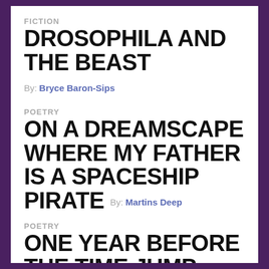FICTION
DROSOPHILA AND THE BEAST By: Bryce Baron-Sips
POETRY
ON A DREAMSCAPE WHERE MY FATHER IS A SPACESHIP PIRATE By: Martins Deep
POETRY
ONE YEAR BEFORE THE TIME JUMP By: Barbara